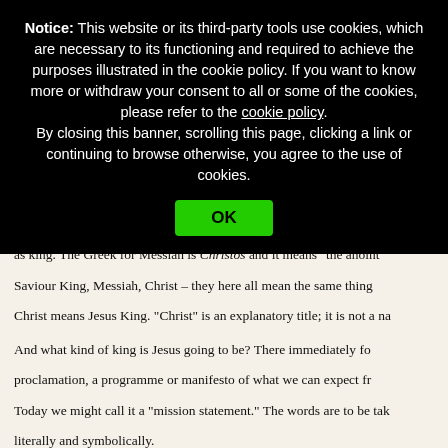Notice: This website or its third-party tools use cookies, which are necessary to its functioning and required to achieve the purposes illustrated in the cookie policy. If you want to know more or withdraw your consent to all or some of the cookies, please refer to the cookie policy. By closing this banner, scrolling this page, clicking a link or continuing to browse otherwise, you agree to the use of cookies.
OK
proclaimed by anointing. We remember the prophet Samuel anointing as king. The Greek for Messiah is Christos and it means "the anointed Saviour King, Messiah, Christ – they here all mean the same thing. Christ means Jesus King. "Christ" is an explanatory title; it is not a na...
And what kind of king is Jesus going to be? There immediately fo proclamation, a programme or manifesto of what we can expect fr Today we might call it a "mission statement." The words are to be tak literally and symbolically.
Good news for the disadvantaged
They are addressed directly to the materially poor, those in pri physically blind, the oppressed and exploited of the world. While speaks of "the poor in spirit", Luke addresses the beatitude directly who are poor, weep, are hungry and oppressed." The message for one of hope, of healing and of liberation. This will come about not...